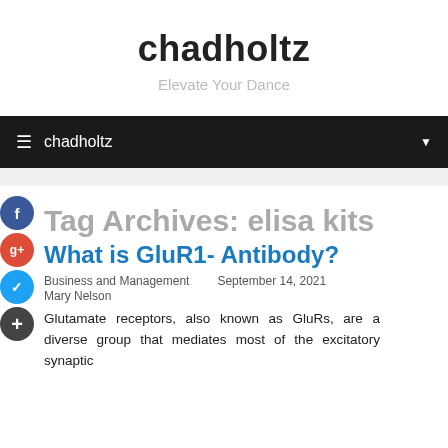chadholtz
Elevate Your Dance
≡  chadholtz ▾
Tag Archives: elisa kits
What is GluR1- Antibody?
Business and Management   September 14, 2021
Mary Nelson
Glutamate receptors, also known as GluRs, are a diverse group that mediates most of the excitatory synaptic